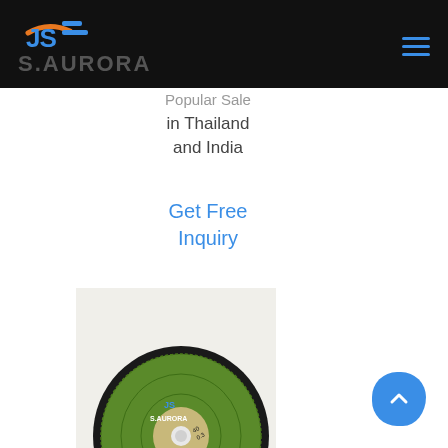[Figure (logo): S.AURORA company logo with stylized JS letters in blue and orange on black background header]
Popular Sale in Thailand and India
Get Free Inquiry
[Figure (photo): S.AURORA branded green abrasive cutting disc with black edge, white center hole, product specifications visible on label]